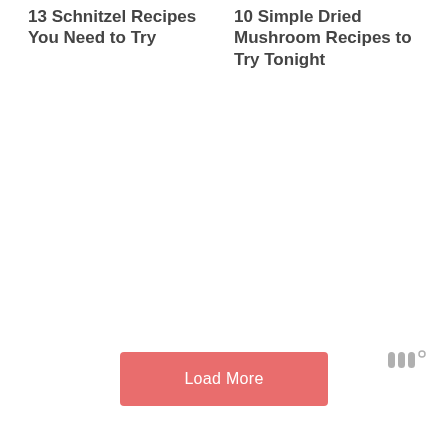13 Schnitzel Recipes You Need to Try
10 Simple Dried Mushroom Recipes to Try Tonight
[Figure (logo): Small grey watermark logo resembling stylized letter W with a degree symbol]
Load More